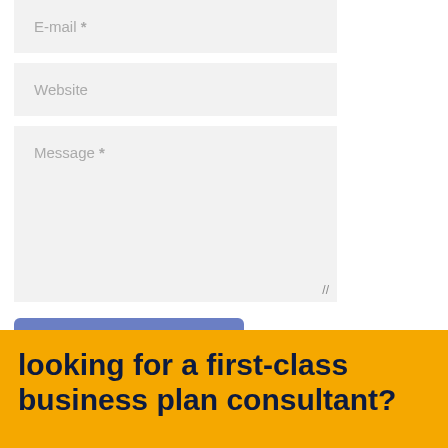E-mail *
Website
Message *
> POST A COMMENT
looking for a first-class business plan consultant?